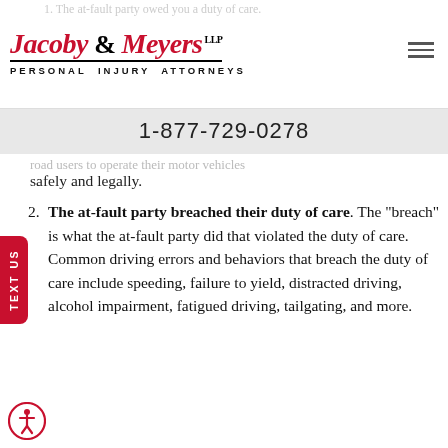Jacoby & Meyers LLP Personal Injury Attorneys
1-877-729-0278
road users to operate their motor vehicles safely and legally.
2. The at-fault party breached their duty of care. The "breach" is what the at-fault party did that violated the duty of care. Common driving errors and behaviors that breach the duty of care include speeding, failure to yield, distracted driving, alcohol impairment, fatigued driving, tailgating, and more.
3. The breach resulted in the accident, which caused your injuries and subsequent impacts and expenses.